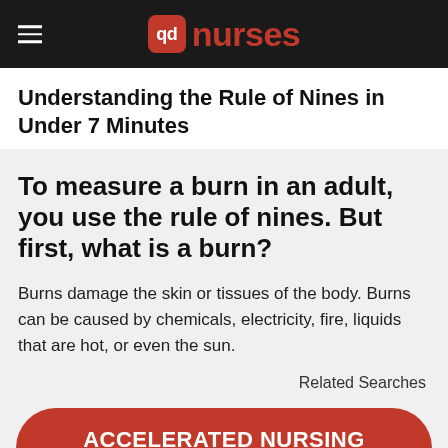qd nurses
Understanding the Rule of Nines in Under 7 Minutes
To measure a burn in an adult, you use the rule of nines. But first, what is a burn?
Burns damage the skin or tissues of the body. Burns can be caused by chemicals, electricity, fire, liquids that are hot, or even the sun.
Related Searches
ACCELERATED NURSING DEGREES »